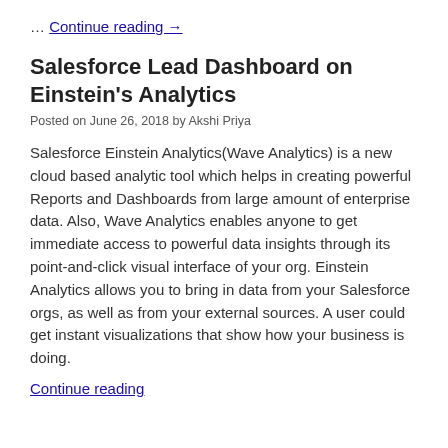… Continue reading →
Salesforce Lead Dashboard on Einstein's Analytics
Posted on June 26, 2018 by Akshi Priya
Salesforce Einstein Analytics(Wave Analytics) is a new cloud based analytic tool which helps in creating powerful Reports and Dashboards from large amount of enterprise data. Also, Wave Analytics enables anyone to get immediate access to powerful data insights through its point-and-click visual interface of your org. Einstein Analytics allows you to bring in data from your Salesforce orgs, as well as from your external sources. A user could get instant visualizations that show how your business is doing.
Continue reading